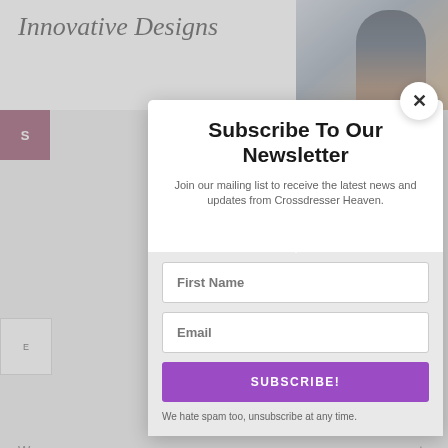[Figure (screenshot): Background website page content showing fashion header with 'Innovative Designs' text, a photo of a woman, and partial page text that is obscured by a newsletter subscription modal popup]
Subscribe To Our Newsletter
Join our mailing list to receive the latest news and updates from Crossdresser Heaven.
First Name
Email
SUBSCRIBE!
We hate spam too, unsubscribe at any time.